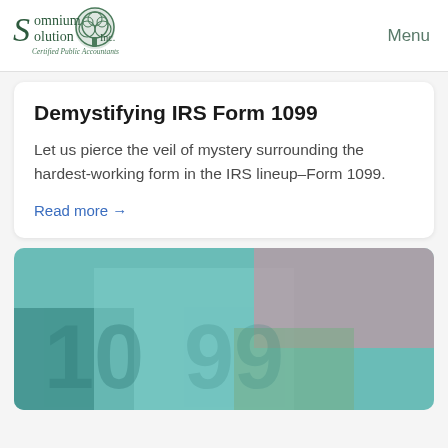Somnium Solution Inc. Certified Public Accountants | Menu
Demystifying IRS Form 1099
Let us pierce the veil of mystery surrounding the hardest-working form in the IRS lineup–Form 1099.
Read more →
[Figure (photo): Abstract blurred background image with teal, pink, green, and blue color blocks suggesting financial/tax documents.]